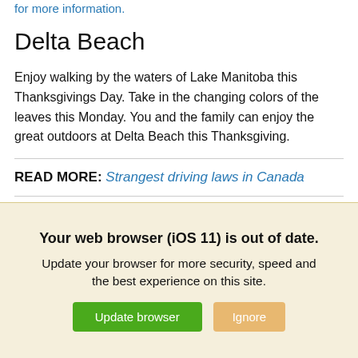for more information.
Delta Beach
Enjoy walking by the waters of Lake Manitoba this Thanksgivings Day. Take in the changing colors of the leaves this Monday. You and the family can enjoy the great outdoors at Delta Beach this Thanksgiving.
READ MORE: Strangest driving laws in Canada
There is a lot to be thankful for this year. Spend time with your family by taking part in experiencing
Your web browser (iOS 11) is out of date. Update your browser for more security, speed and the best experience on this site.